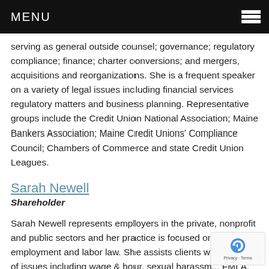MENU
serving as general outside counsel; governance; regulatory compliance; finance; charter conversions; and mergers, acquisitions and reorganizations. She is a frequent speaker on a variety of legal issues including financial services regulatory matters and business planning. Representative groups include the Credit Union National Association; Maine Bankers Association; Maine Credit Unions' Compliance Council; Chambers of Commerce and state Credit Union Leagues.
Sarah Newell
Shareholder
Sarah Newell represents employers in the private, nonprofit and public sectors and her practice is focused on employment and labor law. She assists clients with a range of issues including wage & hour, sexual harassment, FMLA, employee discipline and discharge, discrimination, whistleblower actions, collective bargaining, contract...